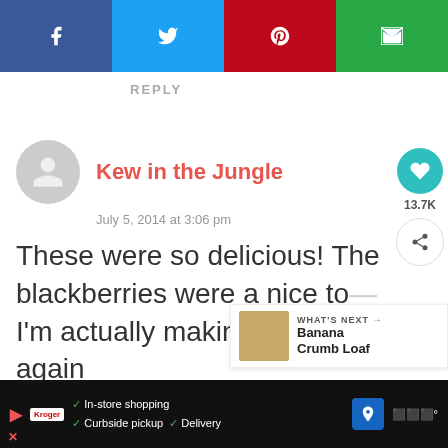[Figure (other): Social sharing bar with four buttons: Facebook (blue), Twitter (light blue), Pinterest (red), Email (green)]
REPLY
Kew in the Jungle
July 5, 2014 at 3:06 pm
These were so delicious! The blackberries were a nice to- I'm actually making these again
[Figure (other): Heart/like button (teal circle) with count 13.7K and share button below]
[Figure (other): What's Next panel showing Banana Crumb Loaf with thumbnail]
[Figure (other): Advertisement bar at bottom: In-store shopping, Curbside pickup, Delivery]